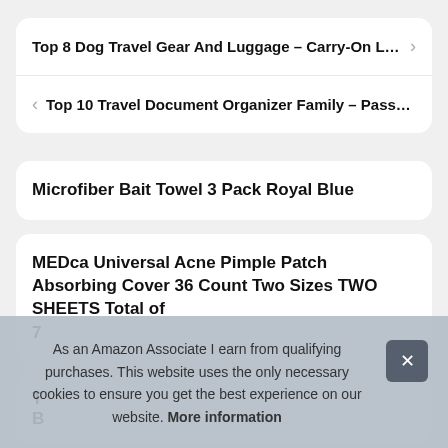Top 8 Dog Travel Gear And Carry-On L…
Top 10 Travel Document Organizer Family – Pass…
Microfiber Bait Towel 3 Pack Royal Blue
MEDca Universal Acne Pimple Patch Absorbing Cover 36 Count Two Sizes TWO SHEETS Total of 7…
As an Amazon Associate I earn from qualifying purchases. This website uses the only necessary cookies to ensure you get the best experience on our website. More information